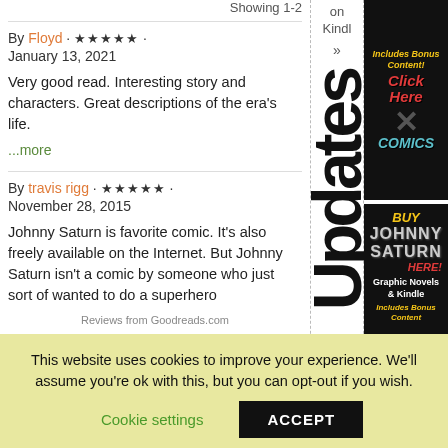Showing 1-2
By Floyd · ★★★★★ · January 13, 2021
Very good read. Interesting story and characters. Great descriptions of the era's life. ...more
By travis rigg · ★★★★★ · November 28, 2015
Johnny Saturn is favorite comic. It's also freely available on the Internet. But Johnny Saturn isn't a comic by someone who just sort of wanted to do a superhero
Reviews from Goodreads.com
Updates
[Figure (photo): Advertisement for X Comics on Kindle with text: Includes Bonus Content! Click Here COMICS]
[Figure (photo): Advertisement for Johnny Saturn with text: BUY SATURN HERE! Graphic Novels & Kindle Includes Bonus Content]
This website uses cookies to improve your experience. We'll assume you're ok with this, but you can opt-out if you wish.
Cookie settings   ACCEPT